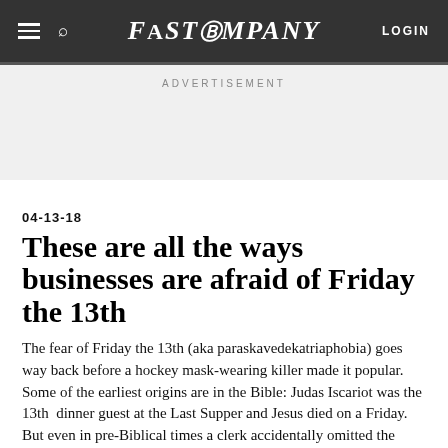FAST COMPANY | LOGIN
ADVERTISEMENT
04-13-18
These are all the ways businesses are afraid of Friday the 13th
The fear of Friday the 13th (aka paraskavedekatriaphobia) goes way back before a hockey mask-wearing killer made it popular. Some of the earliest origins are in the Bible: Judas Iscariot was the 13th dinner guest at the Last Supper and Jesus died on a Friday.  But even in pre-Biblical times a clerk accidentally omitted the number 13 ...